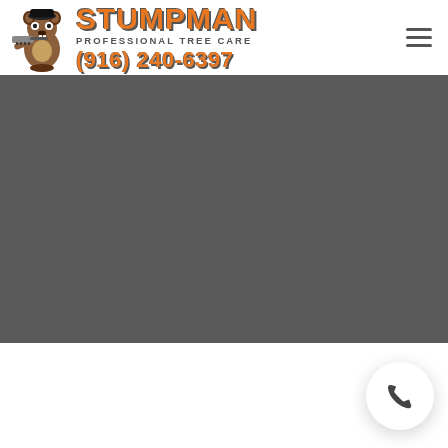[Figure (logo): Stumpman Professional Tree Care logo with cartoon beaver mascot holding a chainsaw, orange text reading STUMPMAN, tagline PROFESSIONAL TREE CARE, and phone number (916) 240-6397]
[Figure (other): Hamburger menu icon with three horizontal lines]
[Figure (photo): Large dark gray hero image area]
[Figure (other): Circular white phone call button with phone handset icon in the bottom right corner]